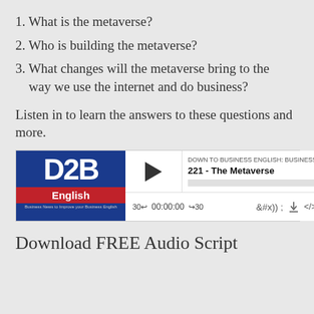1. What is the metaverse?
2. Who is building the metaverse?
3. What changes will the metaverse bring to the way we use the internet and do business?
Listen in to learn the answers to these questions and more.
[Figure (screenshot): Podcast player widget showing D2B English logo, play button, episode title '221 - The Metaverse', podcast name 'DOWN TO BUSINESS ENGLISH: BUSINESS NEW', progress bar, time display 00:00:00, and playback controls including 30-second skip buttons and share icons.]
Download FREE Audio Script